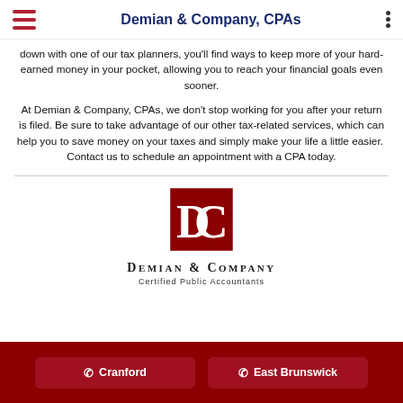Demian & Company, CPAs
down with one of our tax planners, you'll find ways to keep more of your hard-earned money in your pocket, allowing you to reach your financial goals even sooner.
At Demian & Company, CPAs, we don't stop working for you after your return is filed. Be sure to take advantage of our other tax-related services, which can help you to save money on your taxes and simply make your life a little easier.  Contact us to schedule an appointment with a CPA today.
[Figure (logo): Demian & Company Certified Public Accountants logo with DC monogram in dark red square]
Cranford   East Brunswick